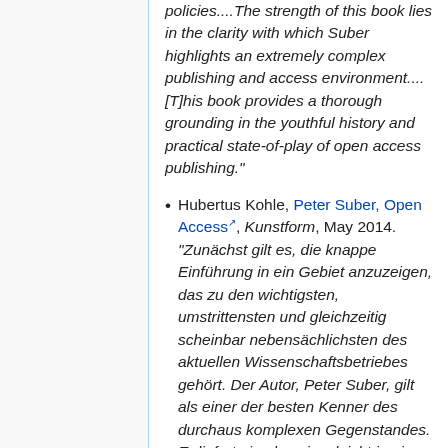policies....The strength of this book lies in the clarity with which Suber highlights an extremely complex publishing and access environment....[T]his book provides a thorough grounding in the youthful history and practical state-of-play of open access publishing."
Hubertus Kohle, Peter Suber, Open Access, Kunstform, May 2014. "Zunächst gilt es, die knappe Einführung in ein Gebiet anzuzeigen, das zu den wichtigsten, umstrittensten und gleichzeitig scheinbar nebensächlichsten des aktuellen Wissenschaftsbetriebes gehört. Der Autor, Peter Suber, gilt als einer der besten Kenner des durchaus komplexen Gegenstandes. Er liefert eine konzise, leicht in einem